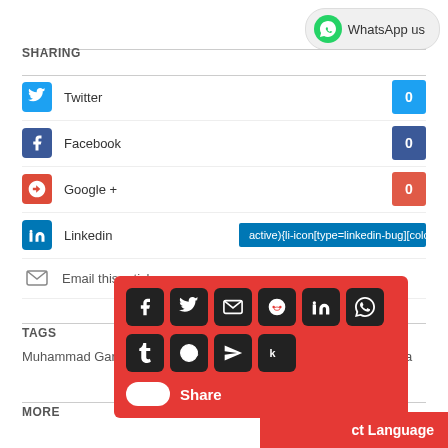[Figure (other): WhatsApp us button with green WhatsApp logo icon]
SHARING
Twitter — count: 0
Facebook — count: 0
Google + — count: 0
Linkedin — active){li-icon[type=linkedin-bug][color=inverse] .background{fill
Email this article
TAGS
Muhammad Garba, Qadiriyya sect, Sheikh Abduljabar Nasir-Kabara
[Figure (other): Red social sharing popup with icons for Facebook, Twitter, Email, Reddit, LinkedIn, WhatsApp, Tumblr, SMS, Telegram, Kik, and a Share toggle button]
MORE
ct Language